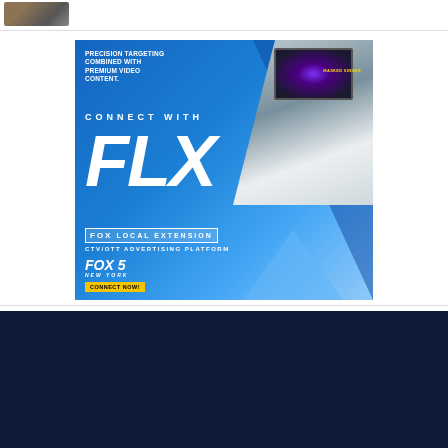[Figure (screenshot): Small cropped image in top-left corner showing a road/traffic scene from above]
[Figure (illustration): Fox Local Extension (FLX) advertisement banner. Blue background with bold white text: 'PRECISION TARGETING COMBINED WITH PREMIUM VIDEO CONTENT.' followed by 'CONNECT WITH FLX' in large letters, 'FOX LOCAL EXTENSION', 'CTV/OTT ADVERTISING PLATFORM', Fox 5 New York logo, and a 'CONNECT NOW!' yellow button. Right side shows a TV displaying Masked Singer and a person watching TV.]
News
New York News
Coronavirus
Weather
Closings
Traffic